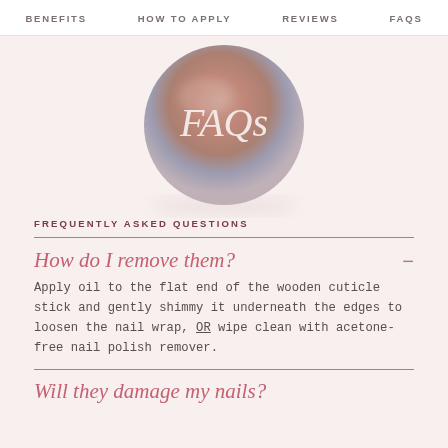BENEFITS   HOW TO APPLY   REVIEWS   FAQS
[Figure (illustration): Decorative sphere/ball with gradient from warm brown/rose at top to muted blue-gray at bottom, with the text 'FAQs' in white serif italic font centered on it]
FREQUENTLY ASKED QUESTIONS
How do I remove them?
Apply oil to the flat end of the wooden cuticle stick and gently shimmy it underneath the edges to loosen the nail wrap, OR wipe clean with acetone-free nail polish remover.
Will they damage my nails?